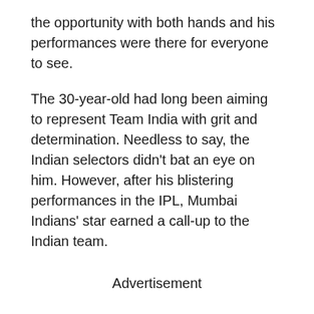the opportunity with both hands and his performances were there for everyone to see.
The 30-year-old had long been aiming to represent Team India with grit and determination. Needless to say, the Indian selectors didn't bat an eye on him. However, after his blistering performances in the IPL, Mumbai Indians' star earned a call-up to the Indian team.
Advertisement